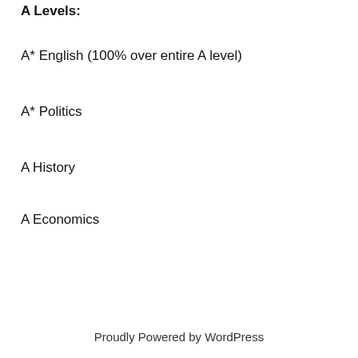A Levels:
A* English (100% over entire A level)
A* Politics
A History
A Economics
Proudly Powered by WordPress